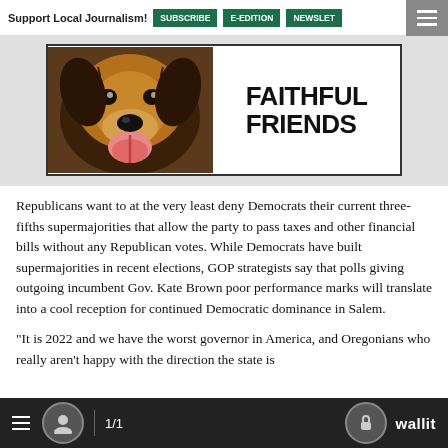Support Local Journalism! | SUBSCRIBE | E-EDITION | NEWSLET
[Figure (photo): Advertisement banner showing a close-up photo of a fluffy dog with tongue out beside bold text reading FAITHFUL FRIENDS]
Republicans want to at the very least deny Democrats their current three-fifths supermajorities that allow the party to pass taxes and other financial bills without any Republican votes. While Democrats have built supermajorities in recent elections, GOP strategists say that polls giving outgoing incumbent Gov. Kate Brown poor performance marks will translate into a cool reception for continued Democratic dominance in Salem.
"It is 2022 and we have the worst governor in America, and Oregonians who really aren't happy with the direction the state is
≡  👤  1/1  🔒 wallit